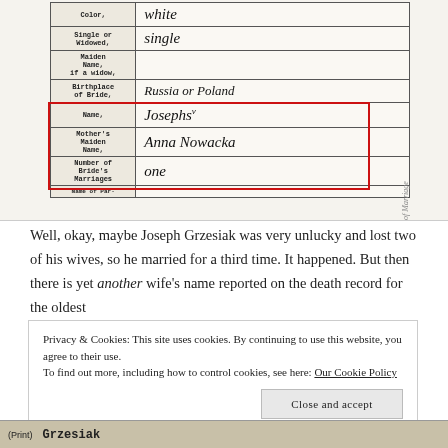[Figure (other): Scanned old marriage/vital record document with handwritten entries. Fields visible: Color (white), Single or Widowed (single), Maiden Name, Birthplace of Bride (Russia/Poland?), Name (Josephs?), Mother's Maiden Name (Anna Nowacka), Number of Bride's Marriages (one). A red rectangle highlights the Name and Mother's Maiden Name rows.]
Well, okay, maybe Joseph Grzesiak was very unlucky and lost two of his wives, so he married for a third time. It happened. But then there is yet another wife's name reported on the death record for the oldest
Privacy & Cookies: This site uses cookies. By continuing to use this website, you agree to their use.
To find out more, including how to control cookies, see here: Our Cookie Policy
Close and accept
[Figure (other): Bottom strip showing partial scan of another document with text '(Print)' and bold text 'Grzesiak']